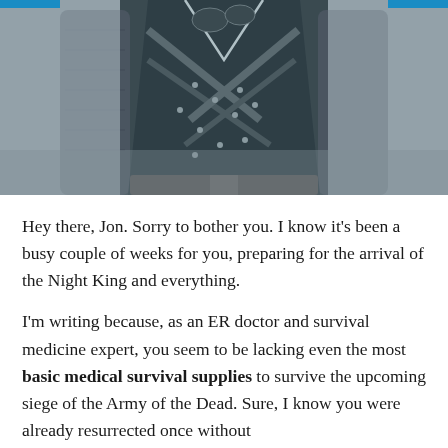[Figure (photo): Photo of a person wearing dark medieval-style quilted leather armor with metal studs and a chain/silver trim detail on the chest, photographed from the torso down, blurred grey outdoor background.]
Hey there, Jon. Sorry to bother you. I know it's been a busy couple of weeks for you, preparing for the arrival of the Night King and everything.
I'm writing because, as an ER doctor and survival medicine expert, you seem to be lacking even the most basic medical survival supplies to survive the upcoming siege of the Army of the Dead. Sure, I know you were already resurrected once without